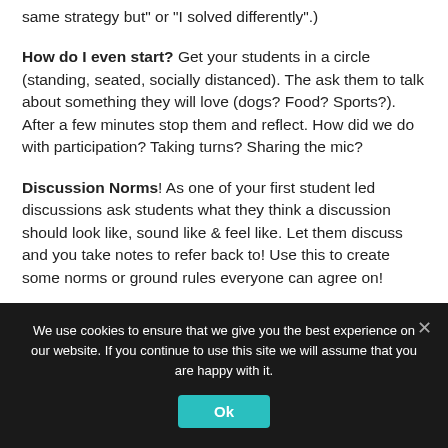same strategy but” or “I solved differently”.)
How do I even start? Get your students in a circle (standing, seated, socially distanced). The ask them to talk about something they will love (dogs? Food? Sports?). After a few minutes stop them and reflect. How did we do with participation? Taking turns? Sharing the mic?
Discussion Norms! As one of your first student led discussions ask students what they think a discussion should look like, sound like & feel like. Let them discuss and you take notes to refer back to! Use this to create some norms or ground rules everyone can agree on!
Virtual Learning?? I know, I get it. We are all struggling
We use cookies to ensure that we give you the best experience on our website. If you continue to use this site we will assume that you are happy with it.